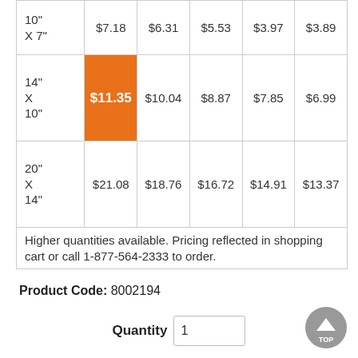| 10" X 7" | $7.18 | $6.31 | $5.53 | $3.97 | $3.89 |
| 14" X 10" | $11.35 | $10.04 | $8.87 | $7.85 | $6.99 |
| 20" X 14" | $21.08 | $18.76 | $16.72 | $14.91 | $13.37 |
| Higher quantities available. Pricing reflected in shopping cart or call 1-877-564-2333 to order. |  |  |  |  |  |
Product Code: 8002194
Quantity 1